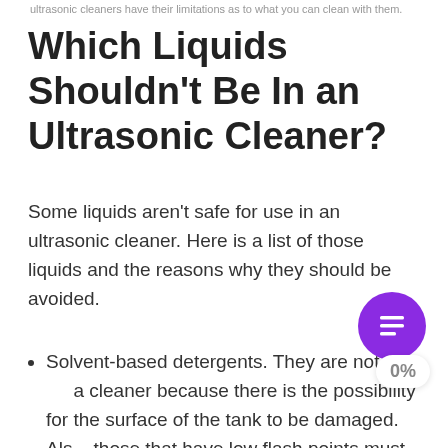ultrasonic cleaners have their limitations as to what you can clean with them.
Which Liquids Shouldn't Be In an Ultrasonic Cleaner?
Some liquids aren't safe for use in an ultrasonic cleaner. Here is a list of those liquids and the reasons why they should be avoided.
Solvent-based detergents. They are not fit for a cleaner because there is the possibility for the surface of the tank to be damaged. Also, those that have low flash points must be avoided. Aside from being damaging to the machine, they are unhealthy for people.